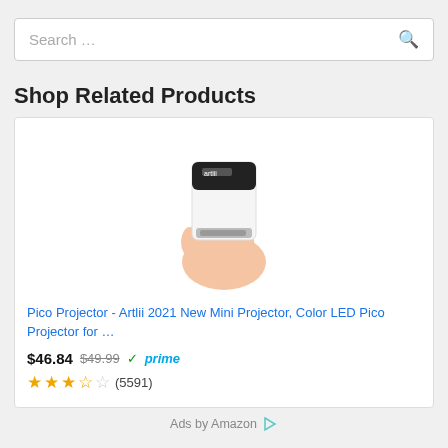Search ...
Shop Related Products
[Figure (photo): Hand holding a small white and black Pico Projector (Artlii brand)]
Pico Projector - Artlii 2021 New Mini Projector, Color LED Pico Projector for …
$46.84  $49.99  prime  ★★★★☆ (5591)
Ads by Amazon
Popular Posts